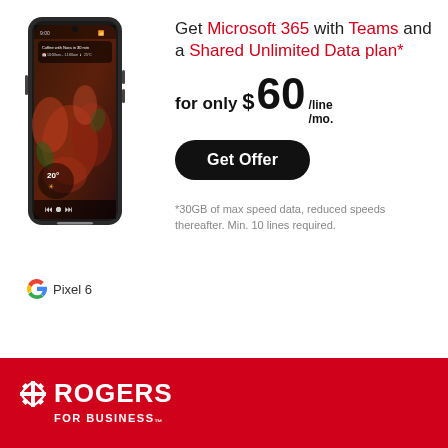[Figure (photo): Google Pixel 6 smartphone with dark floral wallpaper showing weather widget (20°) and calendar notification]
Pixel 6
Get Microsoft 365 with Teams and a Shared Unlimited Data plan*
for only $60/line/mo.
Get Offer
*30GB of max speed data, reduced speeds thereafter. Min. 10 lines required.
[Figure (logo): Rogers For Business logo — white text and diamond icon on red background]